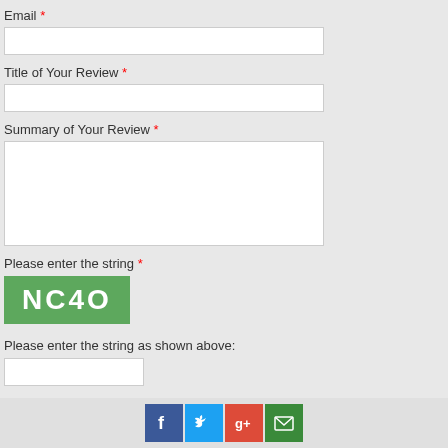Email *
Title of Your Review *
Summary of Your Review *
Please enter the string *
[Figure (other): CAPTCHA image showing green background with white text 'NC4O']
Please enter the string as shown above:
[Figure (other): Social sharing icons: Facebook (blue), Twitter (light blue), Google+ (red), Email (green)]